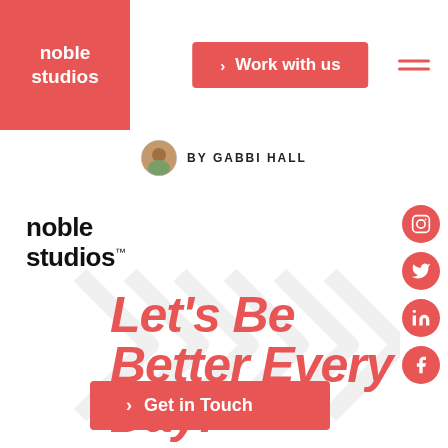[Figure (logo): Noble Studios logo in red square header]
Work with us
[Figure (infographic): Hamburger menu icon (three horizontal red lines)]
[Figure (photo): Small circular avatar of Gabbi Hall]
BY GABBI HALL
[Figure (logo): Noble Studios text logo with trademark symbol]
Let's Be Better Every Day!
[Figure (infographic): Social media icons: Instagram, Twitter, LinkedIn, Facebook on red circles]
Get in Touch
[Figure (illustration): Decorative grey arrow/chevron pattern in background]